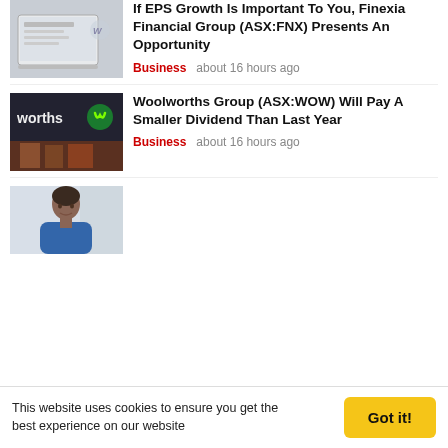[Figure (photo): Thumbnail image showing a laptop/notebook with papers]
If EPS Growth Is Important To You, Finexia Financial Group (ASX:FNX) Presents An Opportunity
Business   about 16 hours ago
[Figure (photo): Woolworths store front with logo and sign]
Woolworths Group (ASX:WOW) Will Pay A Smaller Dividend Than Last Year
Business   about 16 hours ago
[Figure (photo): Portrait photo of a man in a blue jacket]
This website uses cookies to ensure you get the best experience on our website